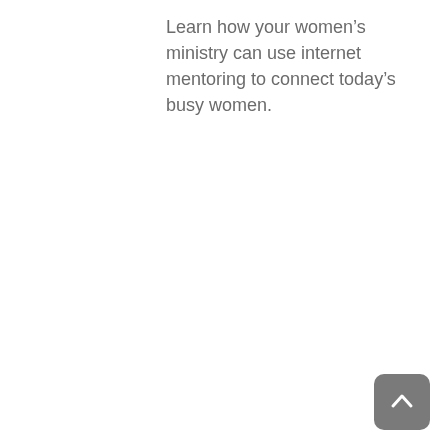Learn how your women’s ministry can use internet mentoring to connect today’s busy women.
[Figure (other): Back-to-top button: a dark rounded square with a white upward-pointing chevron arrow]